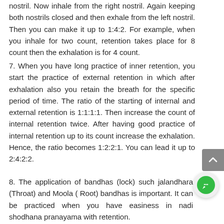nostril. Now inhale from the right nostril. Again keeping both nostrils closed and then exhale from the left nostril. Then you can make it up to 1:4:2. For example, when you inhale for two count, retention takes place for 8 count then the exhalation is for 4 count.
7. When you have long practice of inner retention, you start the practice of external retention in which after exhalation also you retain the breath for the specific period of time. The ratio of the starting of internal and external retention is 1:1:1:1. Then increase the count of internal retention twice. After having good practice of internal retention up to its count increase the exhalation. Hence, the ratio becomes 1:2:2:1. You can lead it up to 2:4:2:2.
8. The application of bandhas (lock) such jalandhara (Throat) and Moola ( Root) bandhas is important. It can be practiced when you have easiness in nadi shodhana pranayama with retention.